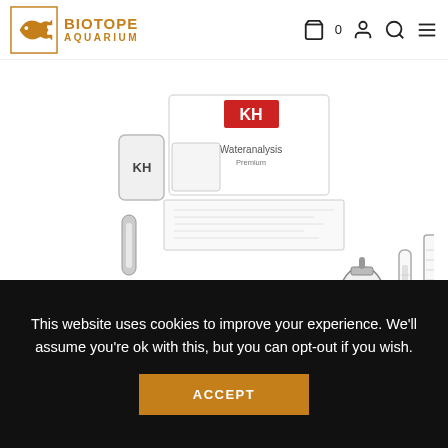[Figure (logo): Biotope Aquarium logo with fish icon and orange text]
[Figure (photo): ELOS AquaTest kH water test kit product photo showing reagent bottle labeled KH, test box labeled 'KH Wateranalysis Premium', dropper bottle, syringe, and graduated cylinder]
ELOS AquaTest kH
[Figure (photo): Partial view of next product - ELOS branded item, partially visible at bottom]
This website uses cookies to improve your experience. We'll assume you're ok with this, but you can opt-out if you wish.
ACCEPT